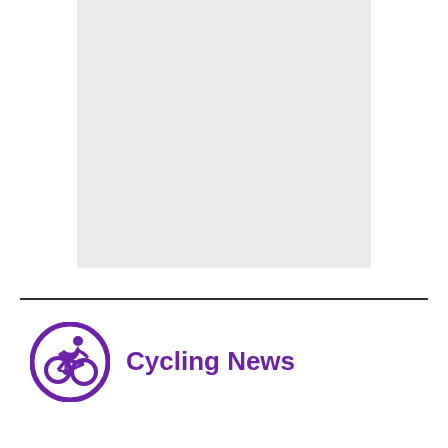[Figure (photo): Light grey rectangular placeholder image in the upper center of the page]
[Figure (logo): Circular purple logo with a cyclist silhouette riding a bicycle, outlined in thick purple ring]
Cycling News